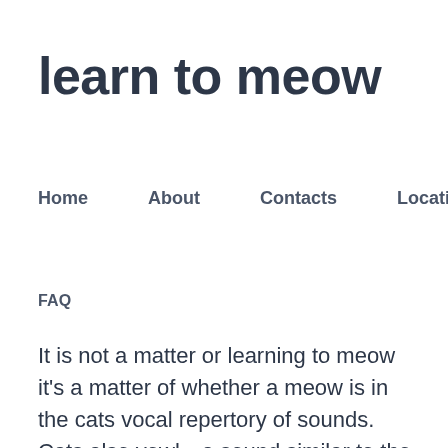learn to meow
Home   About   Contacts   Location
FAQ
It is not a matter or learning to meow it's a matter of whether a meow is in the cats vocal repertory of sounds. Cats also yowl—a sound similar to the meow but more drawn out and melodic. i love this song 2020-06-23T14:03:30Z